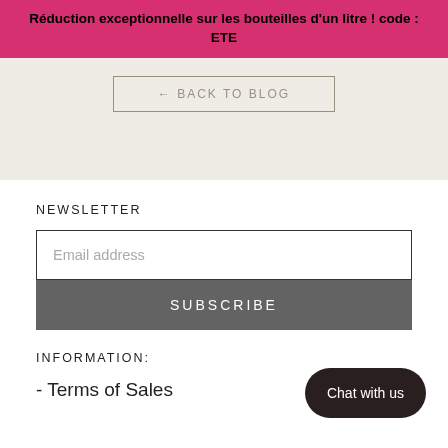Réduction exceptionnelle sur les bouteilles d'un litre ! code : ETE
[Figure (screenshot): Beige section with a back to blog button outlined in tan/grey with text '← BACK TO BLOG']
NEWSLETTER
Email address
SUBSCRIBE
INFORMATION:
- Terms of Sales
Chat with us